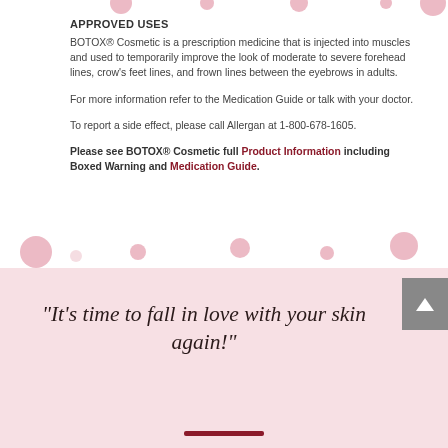APPROVED USES
BOTOX® Cosmetic is a prescription medicine that is injected into muscles and used to temporarily improve the look of moderate to severe forehead lines, crow's feet lines, and frown lines between the eyebrows in adults.
For more information refer to the Medication Guide or talk with your doctor.
To report a side effect, please call Allergan at 1-800-678-1605.
Please see BOTOX® Cosmetic full Product Information including Boxed Warning and Medication Guide.
“It’s time to fall in love with your skin again!”